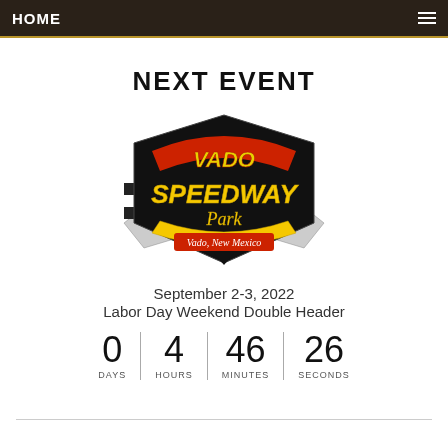HOME
NEXT EVENT
[Figure (logo): Vado Speedway Park logo with checkered flags and text 'Vado, New Mexico']
September 2-3, 2022
Labor Day Weekend Double Header
0 DAYS | 4 HOURS | 46 MINUTES | 26 SECONDS